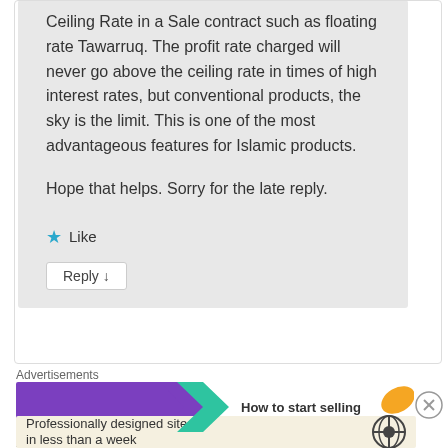Ceiling Rate in a Sale contract such as floating rate Tawarruq. The profit rate charged will never go above the ceiling rate in times of high interest rates, but conventional products, the sky is the limit. This is one of the most advantageous features for Islamic products.

Hope that helps. Sorry for the late reply.
★ Like
Reply ↓
Advertisements
[Figure (screenshot): WooCommerce advertisement banner: purple background with WooCommerce logo, green arrow shape, and text 'How to start selling' with orange leaf decoration]
Advertisements
[Figure (screenshot): WordPress advertisement: beige background with text 'Professionally designed sites in less than a week' and WordPress logo]